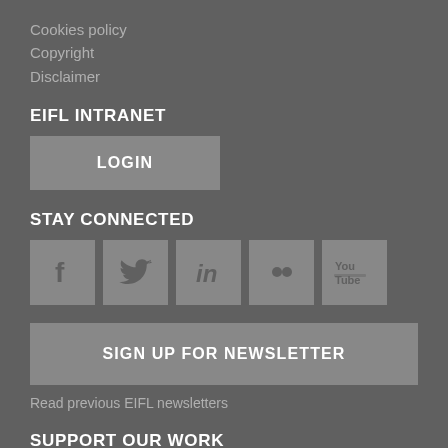Cookies policy
Copyright
Disclaimer
EIFL INTRANET
LOGIN
STAY CONNECTED
[Figure (infographic): Social media icons: Facebook, Twitter, LinkedIn, Flickr, YouTube]
SIGN UP FOR NEWSLETTER
Read previous EIFL newsletters
SUPPORT OUR WORK